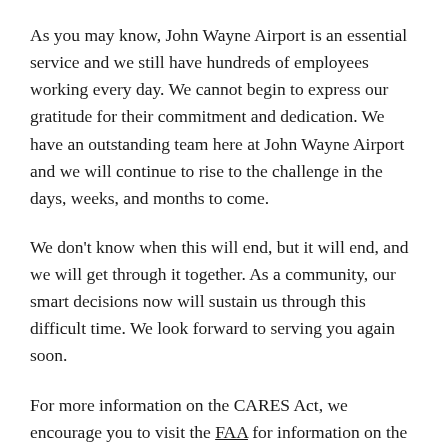As you may know, John Wayne Airport is an essential service and we still have hundreds of employees working every day. We cannot begin to express our gratitude for their commitment and dedication. We have an outstanding team here at John Wayne Airport and we will continue to rise to the challenge in the days, weeks, and months to come.
We don't know when this will end, but it will end, and we will get through it together. As a community, our smart decisions now will sustain us through this difficult time. We look forward to serving you again soon.
For more information on the CARES Act, we encourage you to visit the FAA for information on the funding available for airports. The Small Business Administration (SBA) also has a comprehensive guide with information to help small business owners better understand the